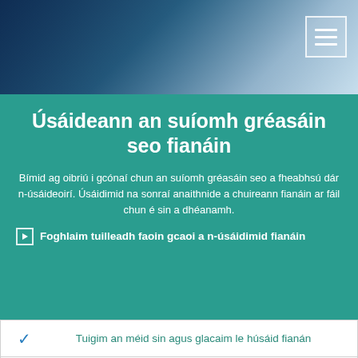[Figure (screenshot): Header background image with dark blue gradient and grid/tech pattern, with a hamburger menu button (three horizontal lines) in white on the top right]
Úsáideann an suíomh gréasáin seo fianáin
Bímid ag oibriú i gcónaí chun an suíomh gréasáin seo a fheabhsú dár n-úsáideoirí. Úsáidimid na sonraí anaithnide a chuireann fianáin ar fáil chun é sin a dhéanamh.
Foghlaim tuilleadh faoin gcaoi a n-úsáidimid fianáin
Tuigim an méid sin agus glacaim le húsáid fianán
Ní ghlacaim le húsáid fianán